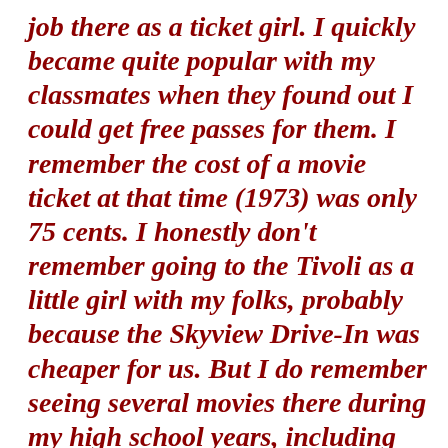job there as a ticket girl. I quickly became quite popular with my classmates when they found out I could get free passes for them. I remember the cost of a movie ticket at that time (1973) was only 75 cents. I honestly don't remember going to the Tivoli as a little girl with my folks, probably because the Skyview Drive-In was cheaper for us. But I do remember seeing several movies there during my high school years, including Dillinger, the movie that was filmed in Ardmore.

In fact, my dad worked for Mac's